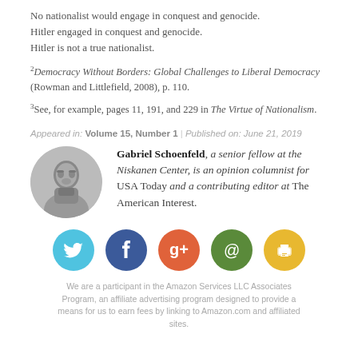No nationalist would engage in conquest and genocide.
Hitler engaged in conquest and genocide.
Hitler is not a true nationalist.
2Democracy Without Borders: Global Challenges to Liberal Democracy (Rowman and Littlefield, 2008), p. 110.
3See, for example, pages 11, 191, and 229 in The Virtue of Nationalism.
Appeared in: Volume 15, Number 1 | Published on: June 21, 2019
Gabriel Schoenfeld, a senior fellow at the Niskanen Center, is an opinion columnist for USA Today and a contributing editor at The American Interest.
[Figure (infographic): Social share icons: Twitter (blue), Facebook (dark blue), Google+ (orange-red), Email at-sign (green), Print (yellow)]
We are a participant in the Amazon Services LLC Associates Program, an affiliate advertising program designed to provide a means for us to earn fees by linking to Amazon.com and affiliated sites.